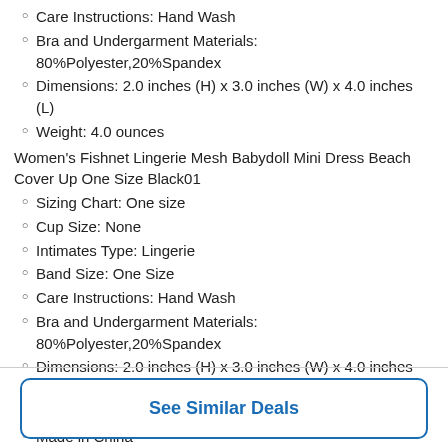Care Instructions: Hand Wash
Bra and Undergarment Materials: 80%Polyester,20%Spandex
Dimensions: 2.0 inches (H) x 3.0 inches (W) x 4.0 inches (L)
Weight: 4.0 ounces
Women's Fishnet Lingerie Mesh Babydoll Mini Dress Beach Cover Up One Size Black01
Sizing Chart: One size
Cup Size: None
Intimates Type: Lingerie
Band Size: One Size
Care Instructions: Hand Wash
Bra and Undergarment Materials: 80%Polyester,20%Spandex
Dimensions: 2.0 inches (H) x 3.0 inches (W) x 4.0 inches (L)
Weight: 4.0 ounces
Made in China
See Similar Deals